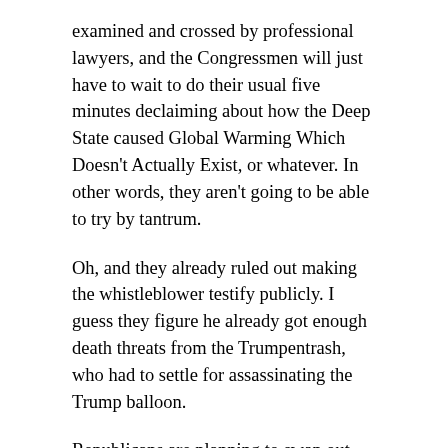examined and crossed by professional lawyers, and the Congressmen will just have to wait to do their usual five minutes declaiming about how the Deep State caused Global Warming Which Doesn't Actually Exist, or whatever. In other words, they aren't going to be able to try by tantrum.
Oh, and they already ruled out making the whistleblower testify publicly. I guess they figure he already got enough death threats from the Trumpentrash, who had to settle for assassinating the Trump balloon.
Republicans are planning to swap out the comically inept Devin Nunes for a live cow...no wait, I misread that. They are planning to swap him out for the quicker witted and more vicious Jim Jordan, who is simultaneously trying to persuade prosecutors that he knew nothing—nuffink—about college athletes being raped on his watch. Nunes